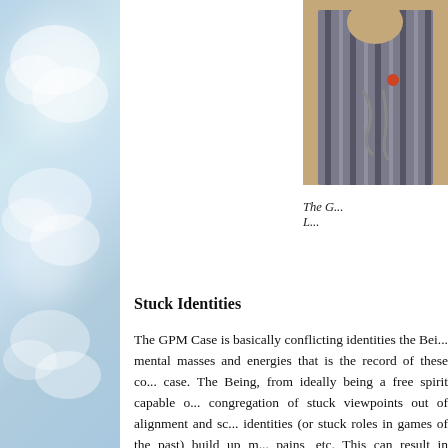[Figure (photo): A person in striped clothing, partially cropped on the right side of the page]
The G...
...
Stuck Identities
The GPM Case is basically conflicting identities the Bei... mental masses and energies that is the record of these co... case. The Being, from ideally being a free spirit capable o... congregation of stuck viewpoints out of alignment and sc... identities (or stuck roles in games of the past) build up m... pains, etc. This can result in physical illness in some case...